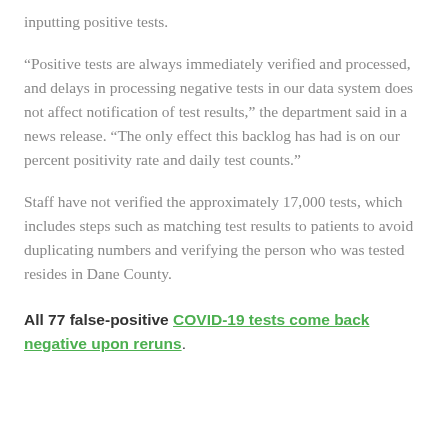inputting positive tests.
“Positive tests are always immediately verified and processed, and delays in processing negative tests in our data system does not affect notification of test results,” the department said in a news release. “The only effect this backlog has had is on our percent positivity rate and daily test counts.”
Staff have not verified the approximately 17,000 tests, which includes steps such as matching test results to patients to avoid duplicating numbers and verifying the person who was tested resides in Dane County.
All 77 false-positive COVID-19 tests come back negative upon reruns.